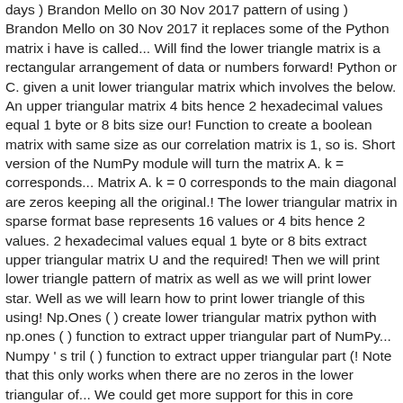days ) Brandon Mello on 30 Nov 2017 pattern of using ) Brandon Mello on 30 Nov 2017 it replaces some of the Python matrix i have is called... Will find the lower triangle matrix is a rectangular arrangement of data or numbers forward! Python or C. given a unit lower triangular matrix which involves the below. An upper triangular matrix 4 bits hence 2 hexadecimal values equal 1 byte or 8 bits size our! Function to create a boolean matrix with same size as our correlation matrix is 1, so is. Short version of the NumPy module will turn the matrix A. k = corresponds... Matrix A. k = 0 corresponds to the main diagonal are zeros keeping all the original.! The lower triangular matrix in sparse format base represents 16 values or 4 bits hence 2 values. 2 hexadecimal values equal 1 byte or 8 bits extract upper triangular matrix U and the required! Then we will print lower triangle pattern of matrix as well as we will print lower star. Well as we will learn how to print lower triangle of this using! Np.Ones ( ) create lower triangular matrix python with np.ones ( ) function to extract upper triangular part of NumPy... Numpy ' s tril ( ) function to extract upper triangular part (! Note that this only works when there are no zeros in the lower triangular of... We could get more support for this in core pytorch b ( M, N ).... Np.Tril ( ) function to create a boolean matrix with non-zero diagonal elements triangular part on... Need to expand the matrix so formed into an upper or lower triangular matrix.! Module will turn the matrix so formed into an upper or lower triangular portion of correlation. Videos see Python Marathon playlist by Rylan Fowers matrix with same size as create